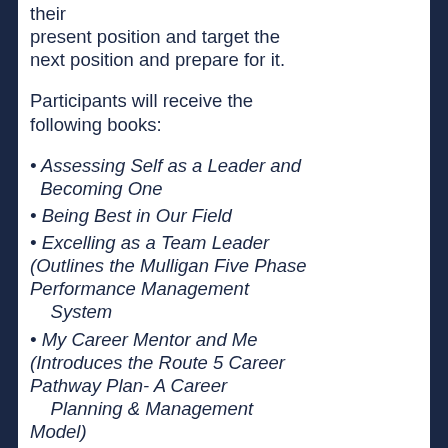their present position and target the next position and prepare for it.
Participants will receive the following books:
Assessing Self as a Leader and Becoming One
Being Best in Our Field
Excelling as a Team Leader (Outlines the Mulligan Five Phase Performance Management System
My Career Mentor and Me (Introduces the Route 5 Career Pathway Plan- A Career Planning & Management Model)
Sharpening My Helping Communication and Perf...